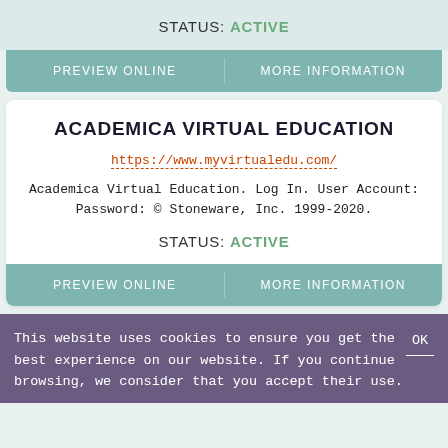STATUS: ACTIVE
PREVIEW ONLINE
MORE INFORMATION
ACADEMICA VIRTUAL EDUCATION
https://www.myvirtualedu.com/
Academica Virtual Education. Log In. User Account: Password: © Stoneware, Inc. 1999-2020.
STATUS: ACTIVE
PREVIEW ONLINE
MORE INFORMATION
This website uses cookies to ensure you get the best experience on our website. If you continue browsing, we consider that you accept their use.
OK